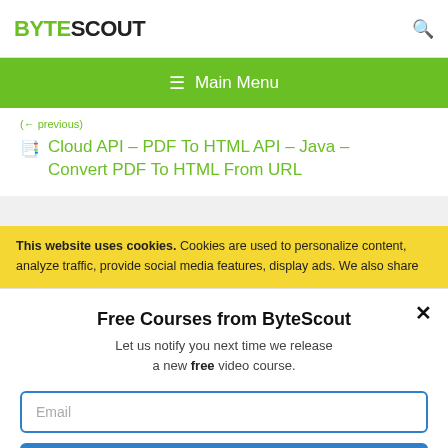BYTESCOUT
Main Menu
Cloud API – PDF To HTML API – Java – Convert PDF To HTML From URL
This website uses cookies. Cookies are used to personalize content, analyze traffic, provide social media features, display ads. We also share
Free Courses from ByteScout
Let us notify you next time we release a new free video course.
Email
SUBSCRIBE